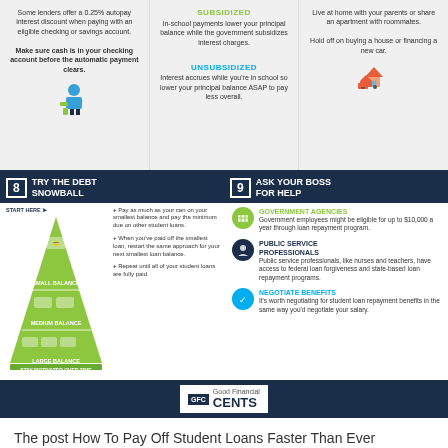Some lenders offer a 0.25% autopay interest discount when paying with an eligible checking or savings account. Make sure cash is in your checking account before the automatic payment clears.
SUBSIDIZED - In-school payments lower your principal balance while the government subsidizes interest charges. UNSUBSIDIZED - Interest accrues while you're in school so lower your principal balance ASAP to pay less overall.
Live at home with your parents or share an apartment with roommates. Hold off on buying a house or financing a new car.
[Figure (infographic): Debt snowball pyramid diagram: green triangle with small, medium, large balance tiers, with instructions to pay smallest balance first, then restart for next smallest, repeat until all loans paid.]
[Figure (infographic): Ask your boss for help section: Government Agencies - eligible for up to $10,000/year; Public Service Professionals - nurses and teachers access federal loan forgiveness; Negotiate Benefits - negotiate student loan repayment benefits.]
[Figure (logo): Good Financial Cents (GFC) logo in footer bar]
The post How To Pay Off Student Loans Faster Than Ever appeared first on Good Financial CentsÂ®.